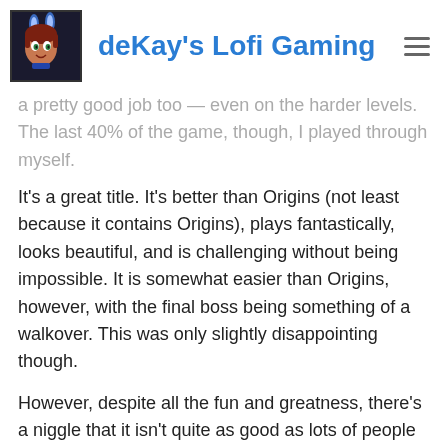deKay's Lofi Gaming
a pretty good job too — even on the harder levels. The last 40% of the game, though, I played through myself.
It's a great title. It's better than Origins (not least because it contains Origins), plays fantastically, looks beautiful, and is challenging without being impossible. It is somewhat easier than Origins, however, with the final boss being something of a walkover. This was only slightly disappointing though.
However, despite all the fun and greatness, there's a niggle that it isn't quite as good as lots of people have said. I'm not sure what. It feels much bigger than it actually is, which might be it. Or it could be the lower difficulty. Or maybe the shortage of the excellent music levels. I don't know.